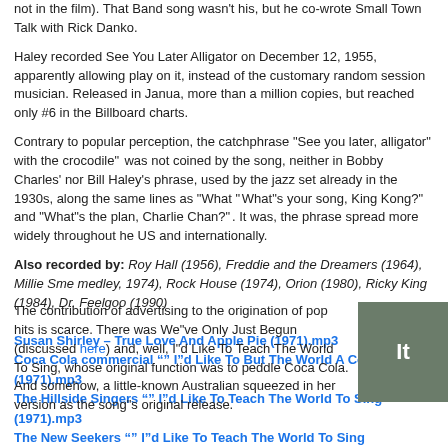not in the film). That Band song wasn't his, but he co-wrote Small Town Talk with Rick Danko.
Haley recorded See You Later Alligator on December 12, 1955, apparently allowing play on it, instead of the customary random session musician. Released in January, more than a million copies, but reached only #6 in the Billboard charts.
Contrary to popular perception, the catchphrase "See you later, alligator" with the crocodile" was not coined by the song, neither in Bobby Charles' nor Bill Haley's phrase, used by the jazz set already in the 1930s, along the same lines as "What "What's your song, King Kong?" and "What's the plan, Charlie Chan?". It was, the phrase spread more widely throughout he US and internationally.
Also recorded by: Roy Hall (1956), Freddie and the Dreamers (1964), Millie Sm... medley, 1974), Rock House (1974), Orion (1980), Ricky King (1984), Dr. Feelgoo... (1990)
Susan Shirley – True Love And Apple Pie (1971).mp3
Coca Cola commercial "" I"d Like To But The World A Coke (1971).mp3
The Hillside Singers "" I"d Like To Teach The World To Sing (1971).mp3
The New Seekers "" I"d Like To Teach The World To Sing (1971).mp3
The contribution of advertising to the origination of pop hits is scarce. There was We've Only Just Begun (discussed here) and, well, I'd Like To Teach The World To Sing, whose original function was to peddle Coca Cola. And somehow, a little-known Australian squeezed in her version as the song's original release.
[Figure (photo): Partial view of a dark image with text 'It' visible]